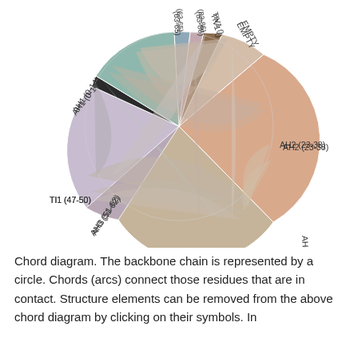[Figure (other): Chord diagram showing backbone chain as a circle with labeled segments: AH1 (0-14), AH2 (23-38), AH4 (68-82), AH3 (51-62), TI1 (47-50), EMPTY, TIV1, (83-86), (63-65). Chords (arcs) connect residues that are in contact between these segments.]
Chord diagram. The backbone chain is represented by a circle. Chords (arcs) connect those residues that are in contact. Structure elements can be removed from the above chord diagram by clicking on their symbols. In